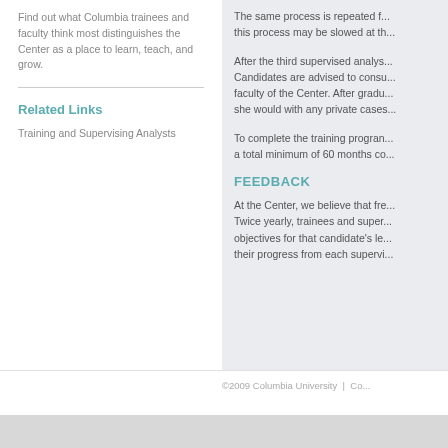Find out what Columbia trainees and faculty think most distinguishes the Center as a place to learn, teach, and grow.
Related Links
Training and Supervising Analysts
The same process is repeated for... this process may be slowed at th...
After the third supervised analys... Candidates are advised to consu... faculty of the Center. After gradu... she would with any private cases...
To complete the training progran... a total minimum of 60 months co...
FEEDBACK
At the Center, we believe that fre... Twice yearly, trainees and super... objectives for that candidate's le... their progress from each supervi...
©2009 Columbia University  |  Co...